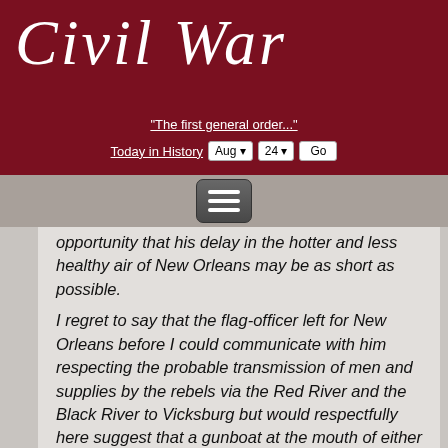Civil War
"The first general order..." Today in History Aug 24 Go
opportunity that his delay in the hotter and less healthy air of New Orleans may be as short as possible.
I regret to say that the flag-officer left for New Orleans before I could communicate with him respecting the probable transmission of men and supplies by the rebels via the Red River and the Black River to Vicksburg but would respectfully here suggest that a gunboat at the mouth of either river would effectually stop any such